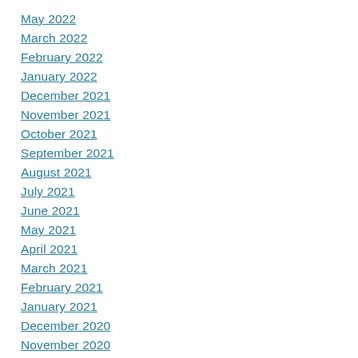May 2022
March 2022
February 2022
January 2022
December 2021
November 2021
October 2021
September 2021
August 2021
July 2021
June 2021
May 2021
April 2021
March 2021
February 2021
January 2021
December 2020
November 2020
October 2020